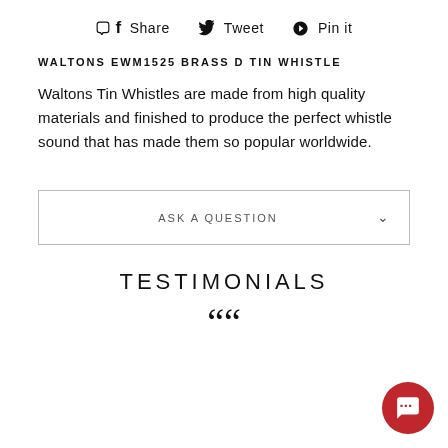f Share   Tweet   Pin it
WALTONS EWM1525 BRASS D TIN WHISTLE
Waltons Tin Whistles are made from high quality materials and finished to produce the perfect whistle sound that has made them so popular worldwide.
ASK A QUESTION
TESTIMONIALS
““